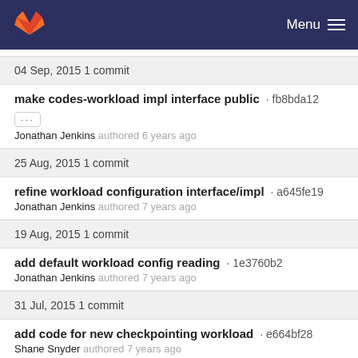GitLab — Menu
04 Sep, 2015 1 commit
make codes-workload impl interface public · fb8bda12
Jonathan Jenkins authored 6 years ago
25 Aug, 2015 1 commit
refine workload configuration interface/impl · a645fe19
Jonathan Jenkins authored 7 years ago
19 Aug, 2015 1 commit
add default workload config reading · 1e3760b2
Jonathan Jenkins authored 7 years ago
31 Jul, 2015 1 commit
add code for new checkpointing workload · e664bf28
Shane Snyder authored 7 years ago
17 Jun, 2015 2 commits